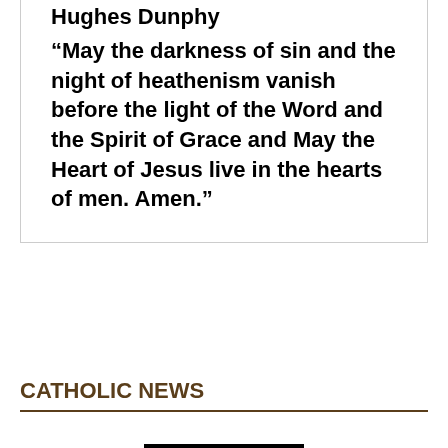Hughes  Dunphy
“May the darkness of sin and the night of heathenism vanish before the light of the Word and the Spirit of Grace and May the Heart of Jesus live in the hearts of men. Amen.”
CATHOLIC NEWS